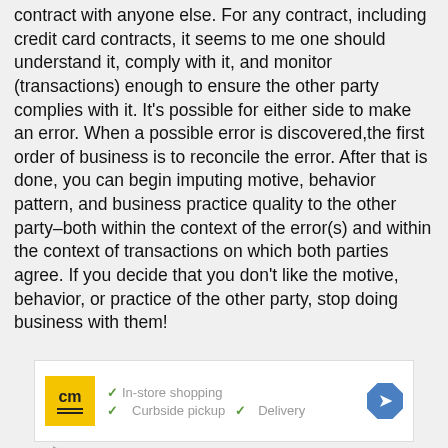contract with anyone else. For any contract, including credit card contracts, it seems to me one should understand it, comply with it, and monitor (transactions) enough to ensure the other party complies with it. It's possible for either side to make an error. When a possible error is discovered,the first order of business is to reconcile the error. After that is done, you can begin imputing motive, behavior pattern, and business practice quality to the other party–both within the context of the error(s) and within the context of transactions on which both parties agree. If you decide that you don't like the motive, behavior, or practice of the other party, stop doing business with them!
[Figure (infographic): Advertisement banner with 'cm' logo in yellow square, checkmarks for In-store shopping, Curbside pickup, Delivery, and a blue diamond-shaped navigation/maps icon]